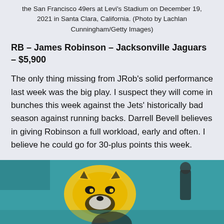the San Francisco 49ers at Levi’s Stadium on December 19, 2021 in Santa Clara, California. (Photo by Lachlan Cunningham/Getty Images)
RB – James Robinson – Jacksonville Jaguars – $5,900
The only thing missing from JRob’s solid performance last week was the big play. I suspect they will come in bunches this week against the Jets’ historically bad season against running backs. Darrell Bevell believes in giving Robinson a full workload, early and often. I believe he could go for 30-plus points this week.
[Figure (photo): Jacksonville Jaguars themed image with team logo (jaguar mascot) visible on a teal background, with a figure in the background]